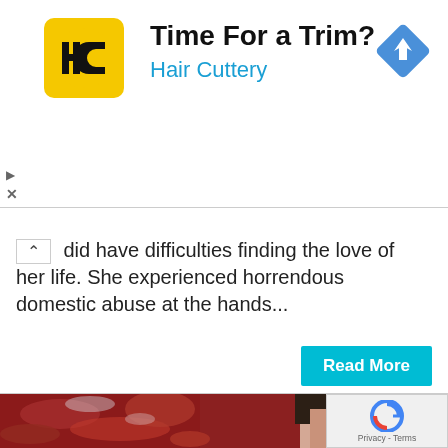[Figure (logo): Hair Cuttery advertisement banner with HC logo in yellow square, title 'Time For a Trim?' and subtitle 'Hair Cuttery' in blue, with a blue navigation diamond icon on the right]
did have difficulties finding the love of her life. She experienced horrendous domestic abuse at the hands...
Read More
[Figure (photo): Woman's face partially obscured by red Japanese maple leaves, close-up portrait with dark hair, with a reCAPTCHA widget overlay in bottom-right corner showing 'Privacy - Terms']